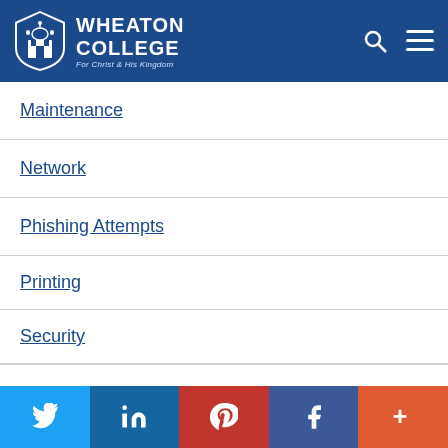Wheaton College — For Christ and His Kingdom
Maintenance
Network
Phishing Attempts
Printing
Security
Twitter | LinkedIn | Pinterest | Facebook | More